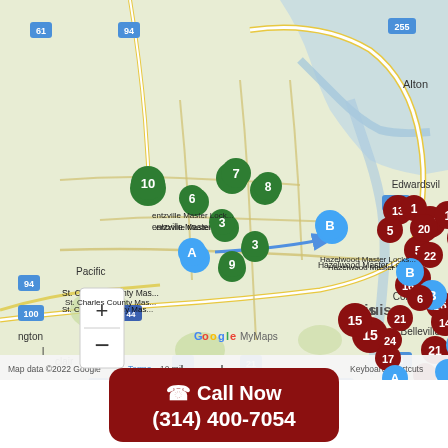[Figure (map): Google My Maps showing St. Louis metro area (Missouri/Illinois) with multiple locksmith business location markers. Green numbered circles (3,3,6,7,8,9,10) in west/St. Charles area, dark red/maroon numbered circles (13,1,20,22,15,16,21,14,6,24,17) clustered in central St. Louis area, dark blue/navy numbered circles (3,4,5,2) in south St. Louis area, and light blue lettered circles (A, B) as route/destination markers. Labels include: Wentzville Master Lock..., St. Charles County Mas..., Hazelwood Master Locks..., Ladue Master Locksmith, Kirkwood Master Locksm..., Fenton Master Locksmit..., Arnold Master Locksmit... Map footer shows: Map data ©2022 Google, Terms, 10 mi scale, Keyboard shortcuts.]
☎ Call Now
(314) 400-7054